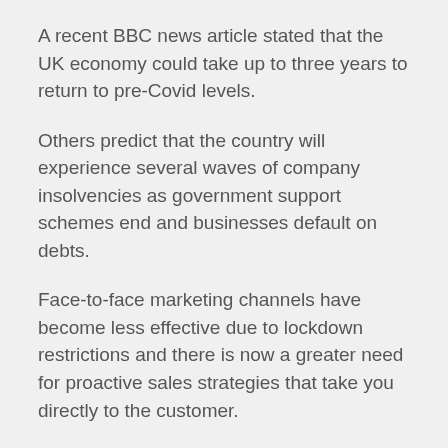A recent BBC news article stated that the UK economy could take up to three years to return to pre-Covid levels.
Others predict that the country will experience several waves of company insolvencies as government support schemes end and businesses default on debts.
Face-to-face marketing channels have become less effective due to lockdown restrictions and there is now a greater need for proactive sales strategies that take you directly to the customer.
With the Christmas break now upon us,